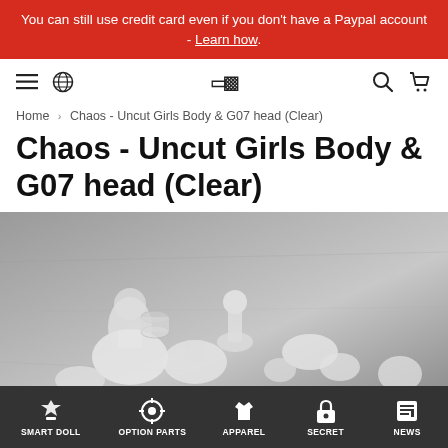You can still use credit card even if you don't have a Paypal account - Learn how.
[Figure (screenshot): Website navigation bar with hamburger menu, globe icon, logo, search icon, and cart icon]
Home › Chaos - Uncut Girls Body & G07 head (Clear)
Chaos - Uncut Girls Body & G07 head (Clear)
[Figure (photo): Clear/frosted white plastic doll body parts and head pieces scattered on a gray concrete surface]
SMART DOLL   OPTION PARTS   APPAREL   SECRET   NEWS